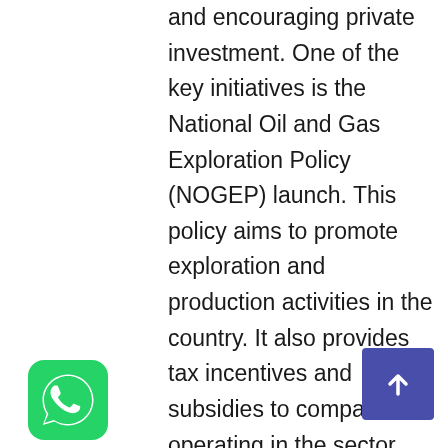and encouraging private investment. One of the key initiatives is the National Oil and Gas Exploration Policy (NOGEP) launch. This policy aims to promote exploration and production activities in the country. It also provides tax incentives and subsidies to companies operating in the sector.
The government is also planning to invite private companies to participate in the sector's development. This will help in bringing in new technologies and expertise. In addition, the energy demand in India is going to rise at a rapid speed. The oil and gas sector is expected to grow swiftly in the coming years to match this requirement. This growth will create new employment opportunities, set up new infrastructure
[Figure (logo): WhatsApp green logo icon, circular with phone handset symbol]
[Figure (other): Dark blue/purple scroll-to-top button with upward arrow]